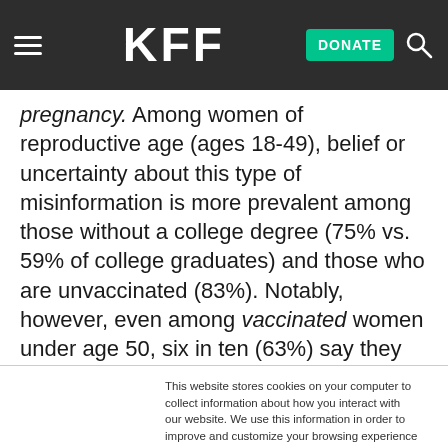KFF | DONATE
pregnancy. Among women of reproductive age (ages 18-49), belief or uncertainty about this type of misinformation is more prevalent among those without a college degree (75% vs. 59% of college graduates) and those who are unvaccinated (83%). Notably, however, even among vaccinated women under age 50, six in ten (63%) say they have heard and believe or are
This website stores cookies on your computer to collect information about how you interact with our website. We use this information in order to improve and customize your browsing experience and for analytics and metrics about our visitors both on this website and other media. To find out more about the cookies we use, see our Privacy Policy.
Accept